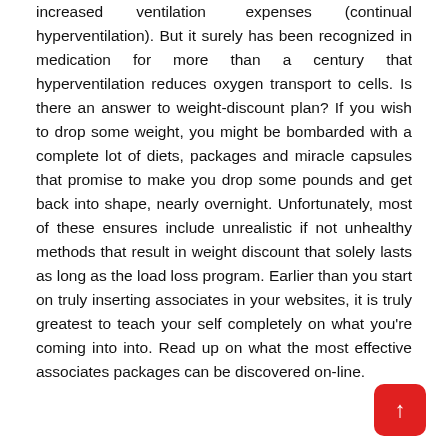increased ventilation expenses (continual hyperventilation). But it surely has been recognized in medication for more than a century that hyperventilation reduces oxygen transport to cells. Is there an answer to weight-discount plan? If you wish to drop some weight, you might be bombarded with a complete lot of diets, packages and miracle capsules that promise to make you drop some pounds and get back into shape, nearly overnight. Unfortunately, most of these ensures include unrealistic if not unhealthy methods that result in weight discount that solely lasts as long as the load loss program. Earlier than you start on truly inserting associates in your websites, it is truly greatest to teach your self completely on what you're coming into into. Read up on what the most effective associates packages can be discovered on-line.